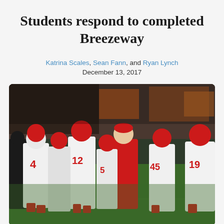Students respond to completed Breezeway
Katrina Scales, Sean Fann, and Ryan Lynch
December 13, 2017
[Figure (photo): Football coach in red polo shirt running onto field with team of players in white and red uniforms with helmets, numbered 4, 12, 15, 19 visible, crowd in background]